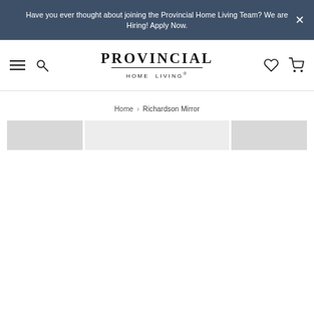Have you ever thought about joining the Provincial Home Living Team? We are Hiring! Apply Now.
[Figure (logo): Provincial Home Living logo with hamburger menu, search, heart, and cart icons in navigation bar]
Home > Richardson Mirror
[Figure (photo): Partial product image strip showing three panels of the Richardson Mirror product page, partially loaded]